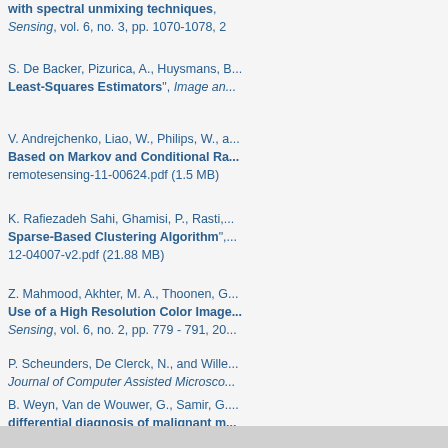with spectral unmixing techniques
Sensing, vol. 6, no. 3, pp. 1070-1078, 2...
S. De Backer, Pizurica, A., Huysmans, B... "Least-Squares Estimators", Image an...
V. Andrejchenko, Liao, W., Philips, W., a... "Based on Markov and Conditional Ra...", remotesensing-11-00624.pdf (1.5 MB)
K. Rafiezadeh Sahi, Ghamisi, P., Rasti,... "Sparse-Based Clustering Algorithm",..., 12-04007-v2.pdf (21.88 MB)
Z. Mahmood, Akhter, M. A., Thoonen, G... "Use of a High Resolution Color Image...", Sensing, vol. 6, no. 2, pp. 779 - 791, 20...
P. Scheunders, De Clerck, N., and Wille... Journal of Computer Assisted Microsco...
B. Weyn, Van de Wouwer, G., Samir, G.... "differential diagnosis of malignant m...", 1999. Google Scholar  BibTeX
« first   ‹ previous   1